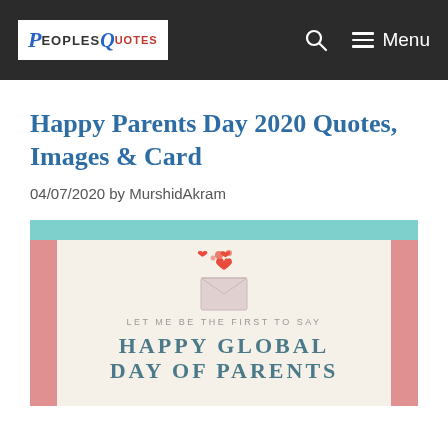PeoplesQuotes — Menu
Happy Parents Day 2020 Quotes, Images & Card
04/07/2020 by MurshidAkram
[Figure (illustration): A greeting card illustration with pink side borders, a teal top bar, a cream/beige background, an envelope with red hearts floating out, subtext 'LET ME BE THE FIRST TO SAY' and bold text 'HAPPY GLOBAL DAY OF PARENTS' in teal/blue-gray serif font.]